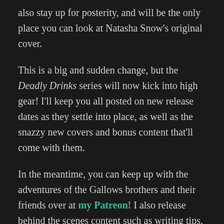also stay up for posterity, and will be the only place you can look at Natasha Snow's original cover.
This is a big and sudden change, but the Deadly Drinks series will now kick into high gear! I'll keep you all posted on new release dates as they settle into place, as well as the snazzy new covers and bonus content that'll come with them.
In the meantime, you can keep up with the adventures of the Gallows brothers and their friends over at my Patreon! I also release behind the scenes content such as writing tips, or this month's post describing my process of writing and adapting mythical creatures in my books. You get sweet new content, I retain some writing-related income while polishing these books to a shine, and everyone wins!